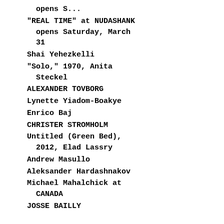opens S...
"REAL TIME" at NUDASHANK opens Saturday, March 31
Shai Yehezkelli
"Solo," 1970, Anita Steckel
ALEXANDER TOVBORG
Lynette Yiadom-Boakye
Enrico Baj
CHRISTER STROMHOLM
Untitled (Green Bed), 2012, Elad Lassry
Andrew Masullo
Aleksander Hardashnakov
Michael Mahalchick at CANADA
JOSSE BAILLY